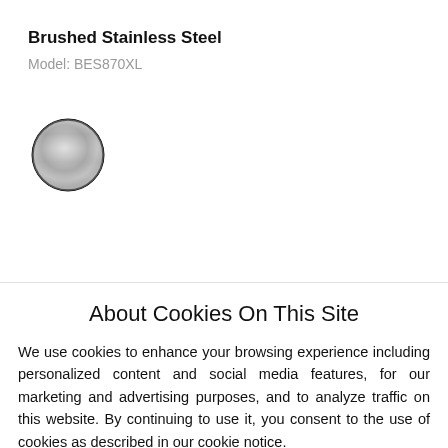Brushed Stainless Steel
Model: BES870XL
[Figure (illustration): Circular color swatch showing brushed stainless steel finish — metallic grey gradient circle with dark border]
Share [→]
About Cookies On This Site
We use cookies to enhance your browsing experience including personalized content and social media features, for our marketing and advertising purposes, and to analyze traffic on this website. By continuing to use it, you consent to the use of cookies as described in our cookie notice.
Accept